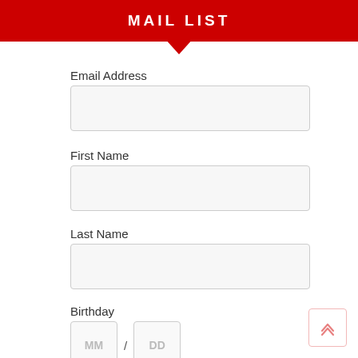MAIL LIST
Email Address
First Name
Last Name
Birthday
MM / DD
( mm / dd )
Zip Code